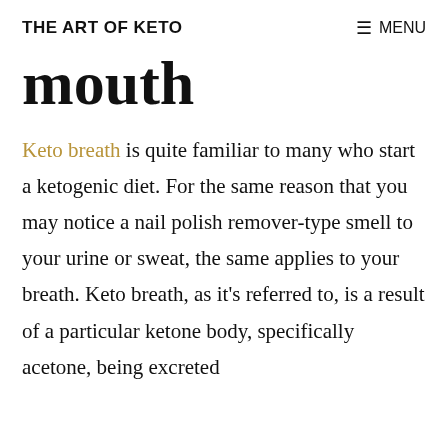THE ART OF KETO   ≡ MENU
mouth
Keto breath is quite familiar to many who start a ketogenic diet. For the same reason that you may notice a nail polish remover-type smell to your urine or sweat, the same applies to your breath. Keto breath, as it's referred to, is a result of a particular ketone body, specifically acetone, being excreted